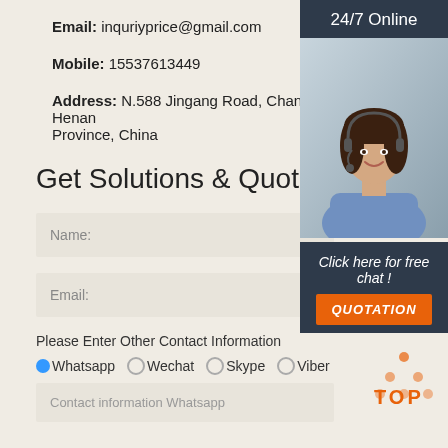Email: inquriyprice@gmail.com
Mobile: 15537613449
Address: N.588 Jingang Road, Changge City, Henan Province, China
Get Solutions & Quotation
Name:
Email:
Please Enter Other Contact Information
Whatsapp
Wechat
Skype
Viber
Contact information Whatsapp
[Figure (infographic): 24/7 Online chat widget with customer service representative photo, 'Click here for free chat!' text, and QUOTATION button]
[Figure (illustration): TOP navigation icon with orange triangle dots and TOP text in orange]